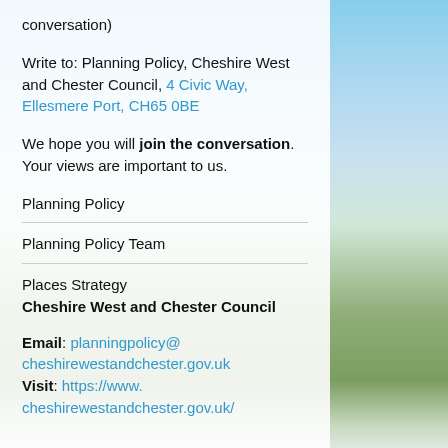conversation)
Write to: Planning Policy, Cheshire West and Chester Council, 4 Civic Way, Ellesmere Port, CH65 0BE
We hope you will join the conversation. Your views are important to us.
Planning Policy
Planning Policy Team
Places Strategy
Cheshire West and Chester Council
Email: planningpolicy@cheshirewestandchester.gov.uk
Visit: https://www.cheshirewestandchester.gov.uk/